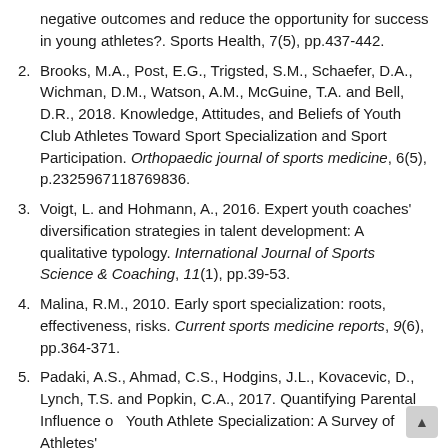negative outcomes and reduce the opportunity for success in young athletes?. Sports Health, 7(5), pp.437-442.
2. Brooks, M.A., Post, E.G., Trigsted, S.M., Schaefer, D.A., Wichman, D.M., Watson, A.M., McGuine, T.A. and Bell, D.R., 2018. Knowledge, Attitudes, and Beliefs of Youth Club Athletes Toward Sport Specialization and Sport Participation. Orthopaedic journal of sports medicine, 6(5), p.2325967118769836.
3. Voigt, L. and Hohmann, A., 2016. Expert youth coaches' diversification strategies in talent development: A qualitative typology. International Journal of Sports Science & Coaching, 11(1), pp.39-53.
4. Malina, R.M., 2010. Early sport specialization: roots, effectiveness, risks. Current sports medicine reports, 9(6), pp.364-371.
5. Padaki, A.S., Ahmad, C.S., Hodgins, J.L., Kovacevic, D., Lynch, T.S. and Popkin, C.A., 2017. Quantifying Parental Influence on Youth Athlete Specialization: A Survey of Athletes'